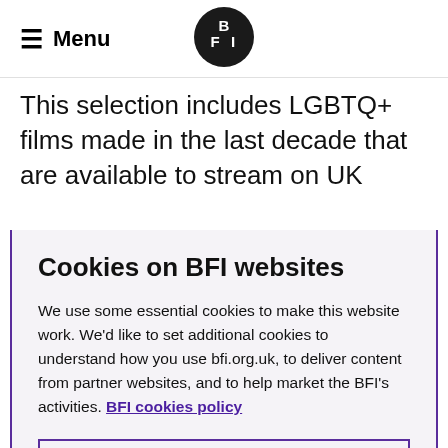Menu  [BFI logo]
This selection includes LGBTQ+ films made in the last decade that are available to stream on UK
Cookies on BFI websites
We use some essential cookies to make this website work. We'd like to set additional cookies to understand how you use bfi.org.uk, to deliver content from partner websites, and to help market the BFI's activities. BFI cookies policy
View cookies
Reject cookies
Accept cookies